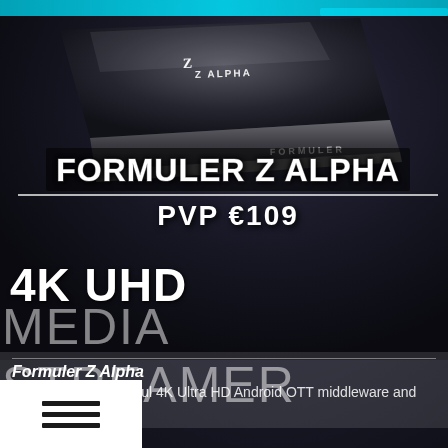[Figure (photo): Formuler Z Alpha 4K UHD media streamer device product advertisement image with dark background, showing the device hardware]
FORMULER Z ALPHA
PVP €109
4K UHD
MEDIA STREAMER
Formuler Z Alpha
Compact and powerful 4K Ultra HD Android OTT middleware and media streamer